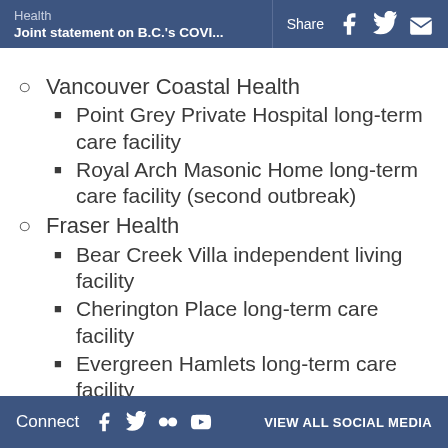Health | Joint statement on B.C.'s COVI... | Share
Vancouver Coastal Health
Point Grey Private Hospital long-term care facility
Royal Arch Masonic Home long-term care facility (second outbreak)
Fraser Health
Bear Creek Villa independent living facility
Cherington Place long-term care facility
Evergreen Hamlets long-term care facility
Connect  VIEW ALL SOCIAL MEDIA